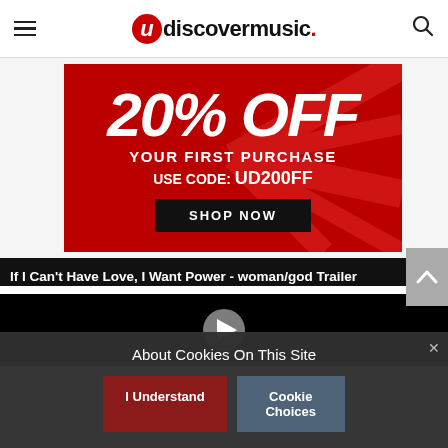udiscovermusic.
[Figure (infographic): Red promotional banner: '20% OFF YOUR FIRST PURCHASE USE CODE: UD200FF — SHOP NOW button']
If I Can't Have Love, I Want Power - woman/god Trailer
[Figure (screenshot): Video player placeholder with play button on dark background]
About Cookies On This Site
I Understand
Cookie Choices